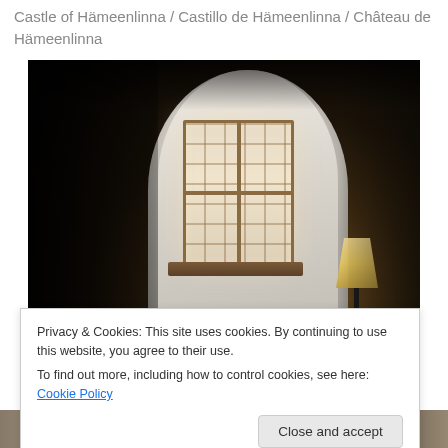Castle of Hämeenlinna / Castillo de Hämeenlinna / Château de Hämeenlinna
[Figure (photo): Interior of Hämeenlinna Castle showing a white plastered arched room with a small multi-pane window letting in light, and a floor lamp glowing in the dark right side of the room]
Privacy & Cookies: This site uses cookies. By continuing to use this website, you agree to their use.
To find out more, including how to control cookies, see here: Cookie Policy
[Figure (photo): Bottom strip showing partial view of photographs or images laid out on a surface]